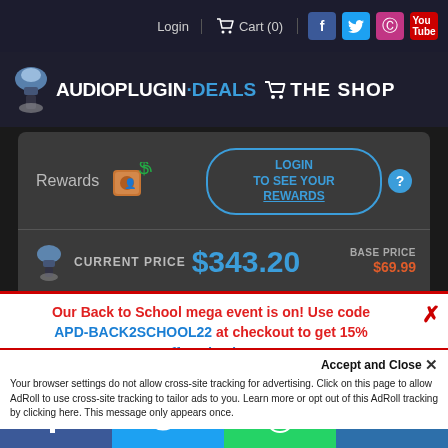Login  Cart (0)
[Figure (logo): AudioPlugin.Deals THE SHOP logo with bell icon and cart]
Rewards  LOGIN TO SEE YOUR REWARDS  ?
CURRENT PRICE $343.20  BASE PRICE $69.99
ADD TO CART
Accept and Close ✕
Your browser settings do not allow cross-site tracking for advertising. Click on this page to allow AdRoll to use cross-site tracking to tailor ads to you. Learn more or opt out of this AdRoll tracking by clicking here. This message only appears once.
Our Back to School mega event is on! Use code APD-BACK2SCHOOL22 at checkout to get 15% off...
[Figure (infographic): Social share bar with Facebook, Twitter, WhatsApp, SMS buttons]